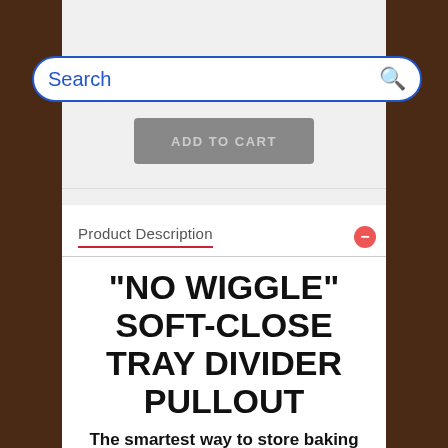[Figure (screenshot): E-commerce product page screenshot showing a search bar overlay, ADD TO CART button, and product description section with wood-textured side borders.]
Product Description
"NO WIGGLE" SOFT-CLOSE TRAY DIVIDER PULLOUT
The smartest way to store baking